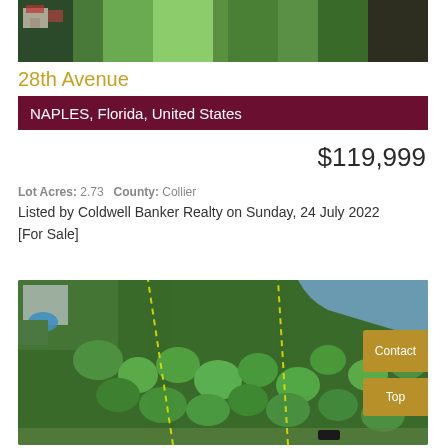[Figure (photo): Aerial view of land parcels and surrounding area from above]
28th Avenue
NAPLES, Florida, United States
$119,999
Lot Acres: 2.73   County: Collier
Listed by Coldwell Banker Realty on Sunday, 24 July 2022 [For Sale]
[Figure (photo): Aerial drone view of wooded land parcel with dotted yellow boundary lines, water visible top right, house with pool visible top left]